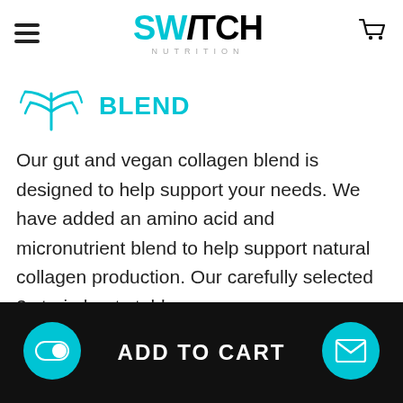Switch Nutrition - BLEND product page
[Figure (logo): Switch Nutrition logo with cyan/teal lettering for SW and black for ITCH, with NUTRITION subtitle in gray]
[Figure (illustration): Teal/cyan plant or leaf icon resembling a branch with small leaves]
BLEND
Our gut and vegan collagen blend is designed to help support your needs. We have added an amino acid and micronutrient blend to help support natural collagen production. Our carefully selected 3 strain heat stable
ADD TO CART